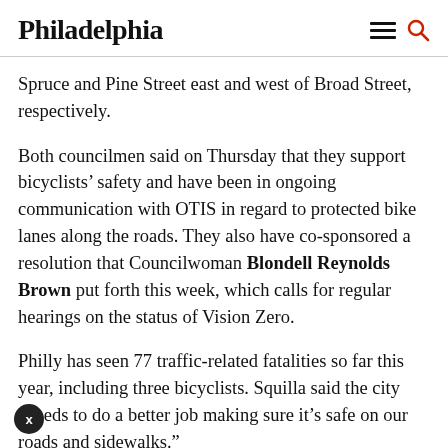Philadelphia
Spruce and Pine Street east and west of Broad Street, respectively.
Both councilmen said on Thursday that they support bicyclists' safety and have been in ongoing communication with OTIS in regard to protected bike lanes along the roads. They also have co-sponsored a resolution that Councilwoman Blondell Reynolds Brown put forth this week, which calls for regular hearings on the status of Vision Zero.
Philly has seen 77 traffic-related fatalities so far this year, including three bicyclists. Squilla said the city “needs to do a better job making sure it’s safe on our roads and sidewalks.”